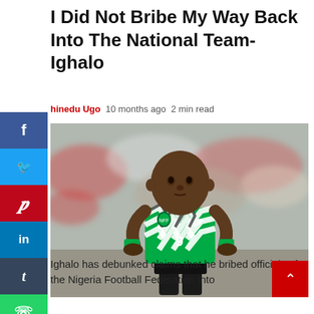I Did Not Bribe My Way Back Into The National Team- Ighalo
hinedu Ugo  10 months ago  2 min read
[Figure (photo): Ighalo wearing Nigeria national team jersey number 9, hands on hips, looking forward, with blurred crowd in background]
Ighalo has debunked claims that he bribed officials of the Nigeria Football Federation into